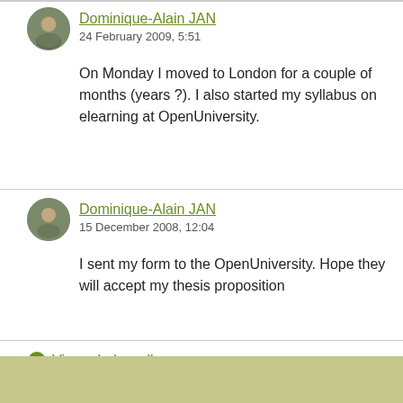Dominique-Alain JAN
24 February 2009, 5:51
On Monday I moved to London for a couple of months (years ?). I also started my syllabus on elearning at OpenUniversity.
Dominique-Alain JAN
15 December 2008, 12:04
I sent my form to the OpenUniversity. Hope they will accept my thesis proposition
View whole wall
Updated on 15 December 2008, 12:02; 33471 page visits from 28 September 2010 to 23 August 2022